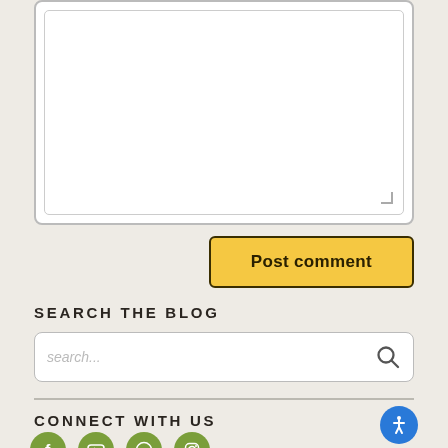[Figure (screenshot): Comment form textarea with a large white input box and a rounded border, with a resize handle at the bottom right corner.]
[Figure (screenshot): Post comment button — golden/yellow background with dark border and bold text 'Post comment'.]
SEARCH THE BLOG
[Figure (screenshot): Search input box with placeholder text 'search...' and a search icon on the right.]
CONNECT WITH US
[Figure (infographic): Row of four olive-green circular social media icons: Facebook, YouTube, Pinterest, Instagram.]
[Figure (infographic): Blue circular accessibility icon with a person figure (wheelchair/accessibility symbol).]